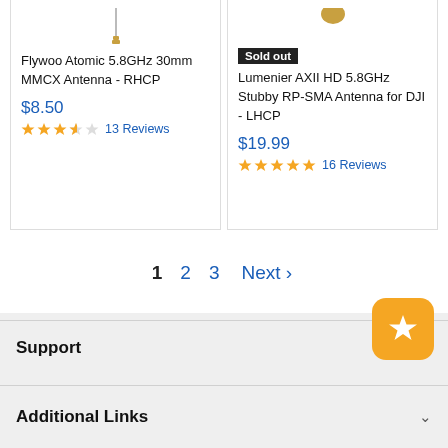[Figure (screenshot): Two product cards side by side. Left: Flywoo Atomic 5.8GHz 30mm MMCX Antenna - RHCP, $8.50, 3.5 stars, 13 Reviews. Right: Lumenier AXII HD 5.8GHz Stubby RP-SMA Antenna for DJI - LHCP, $19.99, 5 stars, 16 Reviews, with 'Sold out' badge.]
Flywoo Atomic 5.8GHz 30mm MMCX Antenna - RHCP
$8.50
13 Reviews
Sold out
Lumenier AXII HD 5.8GHz Stubby RP-SMA Antenna for DJI - LHCP
$19.99
16 Reviews
1  2  3  Next  ›
Support
Additional Links